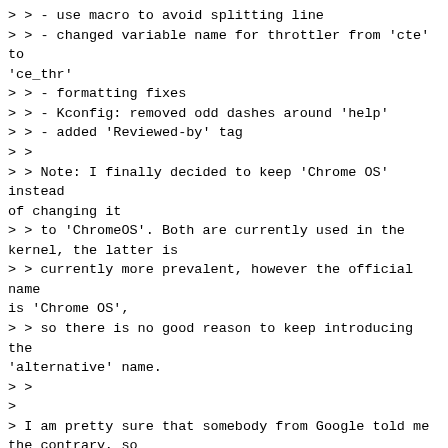> > - use macro to avoid splitting line
> > - changed variable name for throttler from 'cte' to 'ce_thr'
> > - formatting fixes
> > - Kconfig: removed odd dashes around 'help'
> > - added 'Reviewed-by' tag
> >
> > Note: I finally decided to keep 'Chrome OS' instead of changing it
> > to 'ChromeOS'. Both are currently used in the kernel, the latter is
> > currently more prevalent, however the official name is 'Chrome OS',
> > so there is no good reason to keep introducing the 'alternative' name.
> >
>
> I am pretty sure that somebody from Google told me the contrary, so
>
> ¯\_(ツ)_/¯
>
> Anyway, you will probably know better than me :)

The different names in the kernel code indicate that even folks at
Google disagree on this ;-) The name might have evolved over time.

chrome://chrome on a Chromebook names it 'Chrome OS'